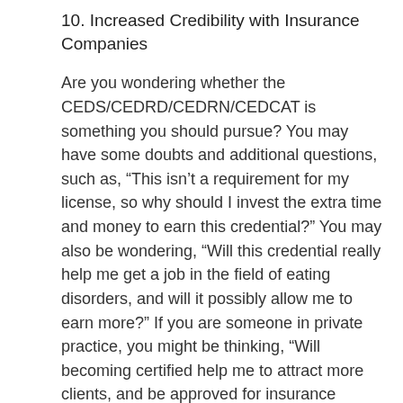10. Increased Credibility with Insurance Companies
Are you wondering whether the CEDS/CEDRD/CEDRN/CEDCAT is something you should pursue? You may have some doubts and additional questions, such as, “This isn’t a requirement for my license, so why should I invest the extra time and money to earn this credential?” You may also be wondering, “Will this credential really help me get a job in the field of eating disorders, and will it possibly allow me to earn more?” If you are someone in private practice, you might be thinking, “Will becoming certified help me to attract more clients, and be approved for insurance panels?”
As the Denver IAEDP Chapter’s Certification Chairwoman, I am available to answer any questions you may have about the CEDS/CEDRD/CEDRN/CEDCAT application process.